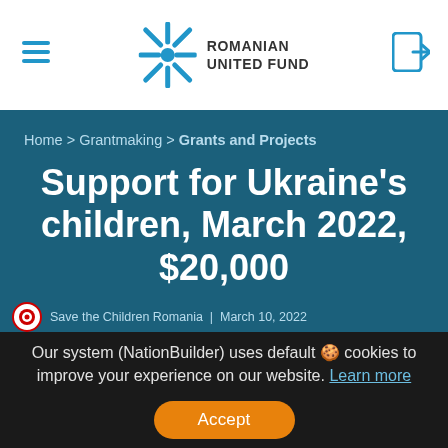Romanian United Fund
Home > Grantmaking > Grants and Projects
Support for Ukraine's children, March 2022, $20,000
Save the Children Romania | March 10, 2022
Our system (NationBuilder) uses default cookies to improve your experience on our website. Learn more
Accept